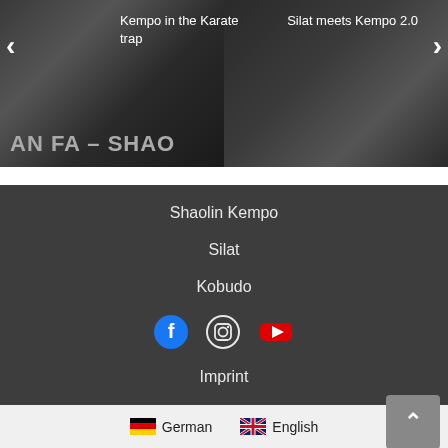[Figure (screenshot): Top navigation carousel area showing two martial arts video thumbnails side by side. Left panel shows 'Kempo in the Karate trap' with dark background and text 'AN FA - SHAO'. Right panel shows 'Silat meets Kempo 2.0' with silhouette figures. Navigation arrows on left and right sides.]
Shaolin Kempo
Silat
Kobudo
[Figure (infographic): Social media icons: Facebook (blue circle with f), Instagram (circle with camera outline), YouTube (red rectangle with play button)]
Imprint
German  English